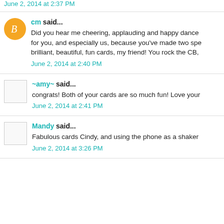June 2, 2014 at 2:37 PM
cm said...
Did you hear me cheering, applauding and happy dance for you, and especially us, because you've made two spe brilliant, beautiful, fun cards, my friend! You rock the CB,
June 2, 2014 at 2:40 PM
~amy~ said...
congrats! Both of your cards are so much fun! Love your
June 2, 2014 at 2:41 PM
Mandy said...
Fabulous cards Cindy, and using the phone as a shaker
June 2, 2014 at 3:26 PM